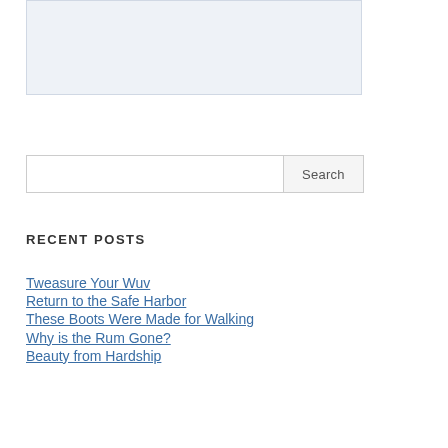[Figure (other): Light blue-grey rectangular image placeholder area]
Search
RECENT POSTS
Tweasure Your Wuv
Return to the Safe Harbor
These Boots Were Made for Walking
Why is the Rum Gone?
Beauty from Hardship